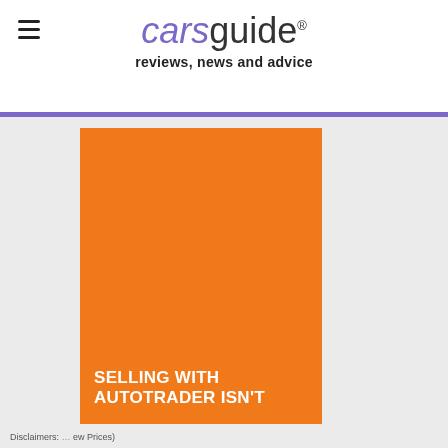carsguide reviews, news and advice
[Figure (screenshot): CarsGuide website header with hamburger menu icon, carsguide logo in purple/black italic/normal text, and tagline 'reviews, news and advice'. Below is a partial image strip with two dark circular icons, bordered by a purple bar.]
[Figure (illustration): Orange advertisement banner with white bold text reading 'SELLING WITH AUTOTRADER ISN'T']
Disclaimers: ... ew Prices)